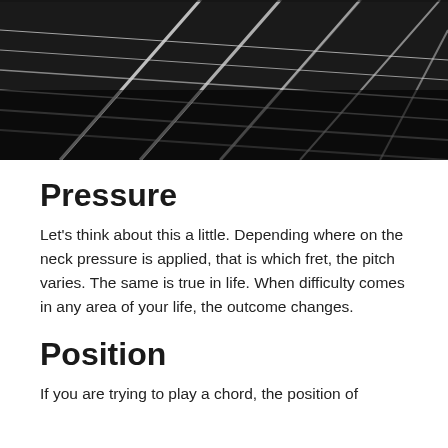[Figure (photo): Close-up black and white photograph of guitar neck and strings, showing frets and strings from an angle]
Pressure
Let's think about this a little.  Depending where on the neck pressure is applied, that is which fret, the pitch varies.   The same is true in life.  When difficulty comes in any area of your life, the outcome changes.
Position
If you are trying to play a chord, the position of